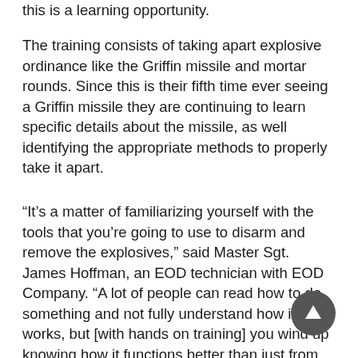this is a learning opportunity.
The training consists of taking apart explosive ordinance like the Griffin missile and mortar rounds. Since this is their fifth time ever seeing a Griffin missile they are continuing to learn specific details about the missile, as well identifying the appropriate methods to properly take it apart.
“It’s a matter of familiarizing yourself with the tools that you’re going to use to disarm and remove the explosives,” said Master Sgt. James Hoffman, an EOD technician with EOD Company. “A lot of people can read how to do something and not fully understand how it works, but [with hands on training] you wind up knowing how it functions better than just from reading it.”